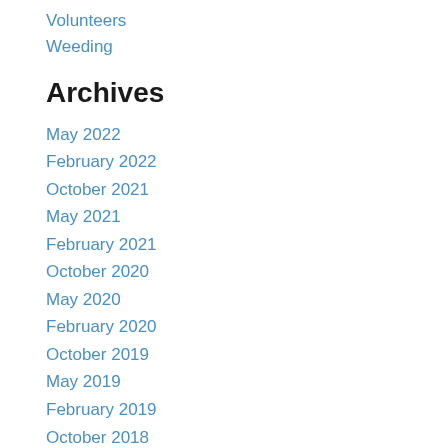Volunteers
Weeding
Archives
May 2022
February 2022
October 2021
May 2021
February 2021
October 2020
May 2020
February 2020
October 2019
May 2019
February 2019
October 2018
May 2018
February 2018
October 2017
September 2017
May 2017